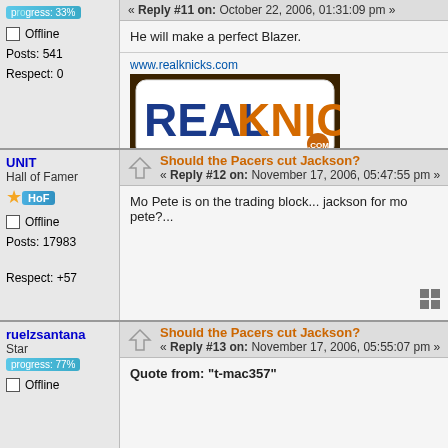progress: 33%
Offline
Posts: 541
Respect: 0
« Reply #11 on: October 22, 2006, 01:31:09 pm »
He will make a perfect Blazer.
[Figure (logo): RealKnicks.com logo banner with www.realknicks.com URL above it]
UNIT
Hall of Famer
HoF
Offline
Posts: 17983
Respect: +57
Should the Pacers cut Jackson?
« Reply #12 on: November 17, 2006, 05:47:55 pm »
Mo Pete is on the trading block... jackson for mo pete?...
ruelzsantana
Star
progress: 77%
Offline
Should the Pacers cut Jackson?
« Reply #13 on: November 17, 2006, 05:55:07 pm »
Quote from: "t-mac357"